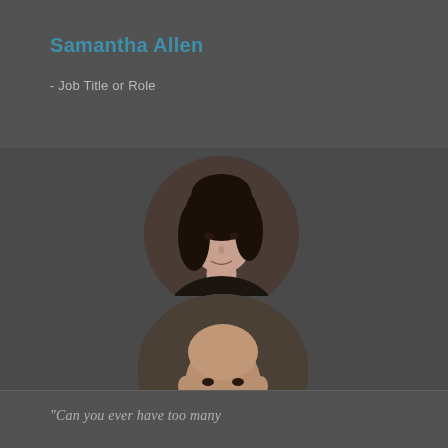Samantha Allen
- Job Title or Role
[Figure (photo): Circular portrait photo of a woman with dark curly hair]
[Figure (photo): Shield/teardrop shaped portrait photo of a bald man in dark clothing]
“Can you ever have too many